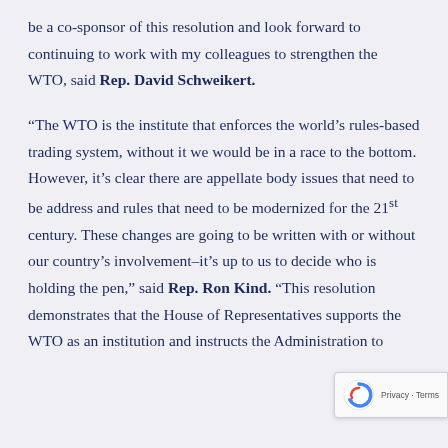be a co-sponsor of this resolution and look forward to continuing to work with my colleagues to strengthen the WTO, said Rep. David Schweikert.
“The WTO is the institute that enforces the world’s rules-based trading system, without it we would be in a race to the bottom. However, it’s clear there are appellate body issues that need to be address and rules that need to be modernized for the 21st century. These changes are going to be written with or without our country’s involvement–it’s up to us to decide who is holding the pen,” said Rep. Ron Kind. “This resolution demonstrates that the House of Representatives supports the WTO as an institution and instructs the Administration to